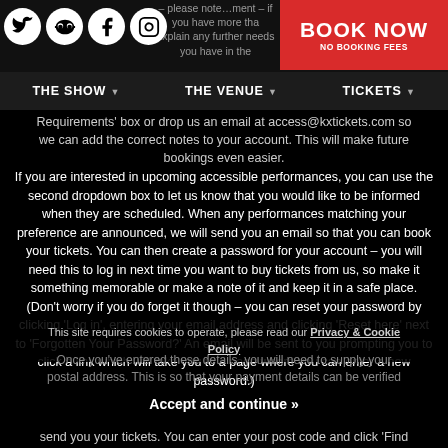THE SHOW | THE VENUE | TICKETS | BOOK NOW NO BOOKING FEES
– please note…ment - if you have more tha… explain any further needs you have in the… Requirements' box or drop us an email at access@kxtickets.com so we can add the correct notes to your account. This will make future bookings even easier.
If you are interested in upcoming accessible performances, you can use the second dropdown box to let us know that you would like to be informed when they are scheduled. When any performances matching your preference are announced, we will send you an email so that you can book your tickets. You can then create a password for your account – you will need this to log in next time you want to buy tickets from us, so make it something memorable or make a note of it and keep it in a safe place. (Don't worry if you do forget it though – you can reset your password by clicking 'Log in', entering your email address and clicking 'Reset here' next to 'Forgotten Your Password?' An email will be sent to you prompting you to click a link which will take you to a page where you can enter a new password.)
This site requires cookies to operate, please read our Privacy & Cookie Policy
Once you've entered these details, you will need to supply your postal address. This is so that your payment details can be verified
Accept and continue »
send you your tickets. You can enter your post code and click 'Find